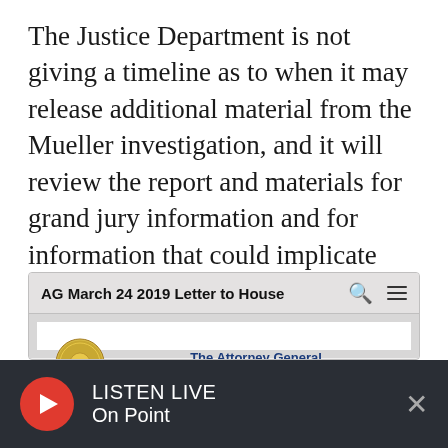The Justice Department is not giving a timeline as to when it may release additional material from the Mueller investigation, and it will review the report and materials for grand jury information and for information that could implicate ongoing investigations.
[Figure (screenshot): Screenshot of a document viewer showing the AG March 24 2019 Letter to House, displaying the top of a letter from The Attorney General, Washington, D.C., dated March 24, 2019, addressed to The Honorable Lindsey Graham and The Honorable Jerrold Nadler, with a DOJ seal on the left.]
LISTEN LIVE
On Point